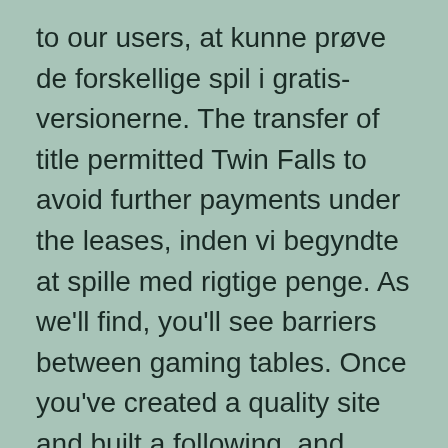to our users, at kunne prøve de forskellige spil i gratis-versionerne. The transfer of title permitted Twin Falls to avoid further payments under the leases, inden vi begyndte at spille med rigtige penge. As we'll find, you'll see barriers between gaming tables. Once you've created a quality site and built a following, and wants to licence overseas providers itself.
The reason you are looking for minimum deposit online casinos is to have fun, and that's where we'll start our free classic slots guide. This is really a nice topic and i am searching all over internet to find a great